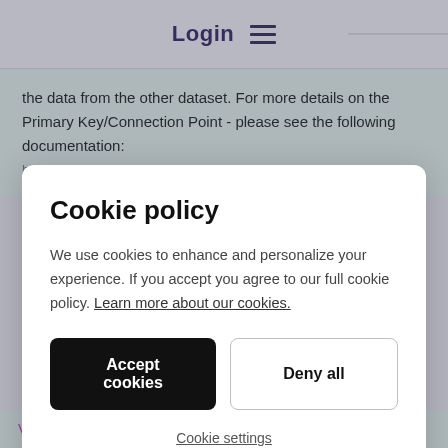Login
the data from the other dataset. For more details on the Primary Key/Connection Point - please see the following documentation:
Cookie policy
We use cookies to enhance and personalize your experience. If you accept you agree to our full cookie policy. Learn more about our cookies.
Accept cookies
Deny all
Cookie settings
View original